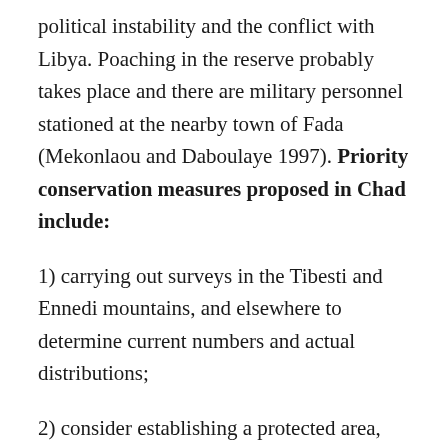political instability and the conflict with Libya. Poaching in the reserve probably takes place and there are military personnel stationed at the nearby town of Fada (Mekonlaou and Daboulaye 1997). Priority conservation measures proposed in Chad include:
1) carrying out surveys in the Tibesti and Ennedi mountains, and elsewhere to determine current numbers and actual distributions;
2) consider establishing a protected area, preferably a national park or at least a faunal reserve, in the Tibesti mountains;
3) improve the levels of protection, especially